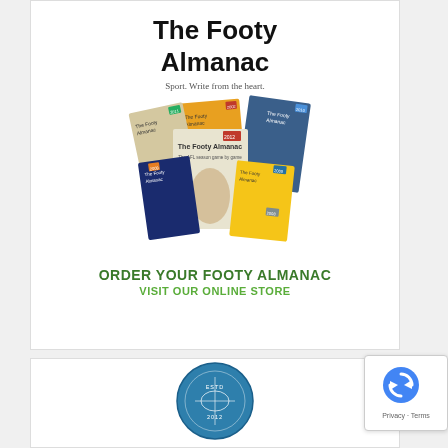[Figure (illustration): The Footy Almanac book covers fanned out showing multiple editions with the text 'The Footy Almanac' and tagline 'Sport. Write from the heart.' on a white background]
ORDER YOUR FOOTY ALMANAC
VISIT OUR ONLINE STORE
[Figure (logo): Circular logo with 'ESTD 2012' text and stadium/sports graphic in blue tones]
[Figure (other): reCAPTCHA badge with rotating arrows icon and 'Privacy - Terms' text]